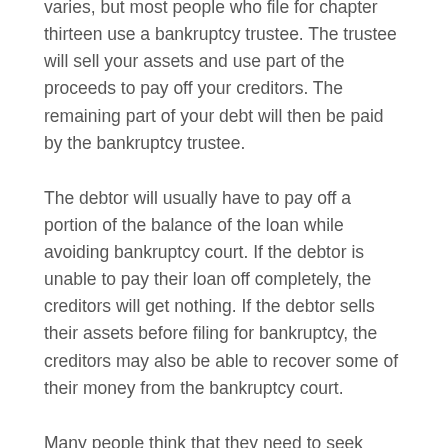varies, but most people who file for chapter thirteen use a bankruptcy trustee. The trustee will sell your assets and use part of the proceeds to pay off your creditors. The remaining part of your debt will then be paid by the bankruptcy trustee.
The debtor will usually have to pay off a portion of the balance of the loan while avoiding bankruptcy court. If the debtor is unable to pay their loan off completely, the creditors will get nothing. If the debtor sells their assets before filing for bankruptcy, the creditors may also be able to recover some of their money from the bankruptcy court.
Many people think that they need to seek professional help in order to be completely free of debt. However, most people who are drowning in debt feel like there is no way out of this situation without professional help. While it is true that credit counselors can offer credit